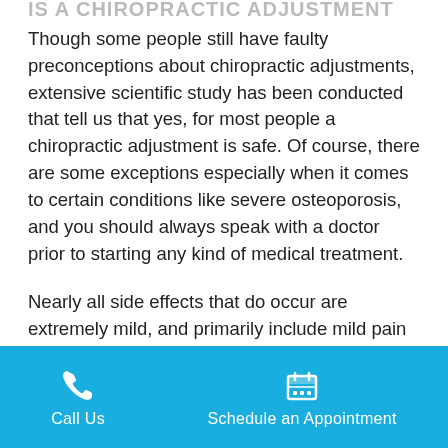IS A CHIROPRACTIC ADJUSTMENT SAFE?
Though some people still have faulty preconceptions about chiropractic adjustments, extensive scientific study has been conducted that tell us that yes, for most people a chiropractic adjustment is safe. Of course, there are some exceptions especially when it comes to certain conditions like severe osteoporosis, and you should always speak with a doctor prior to starting any kind of medical treatment.
Nearly all side effects that do occur are extremely mild, and primarily include mild pain or stiffness in the neck. In one study, only 8% of individuals reported side effects like temporary tiredness
Call Us | Schedule an Appointment